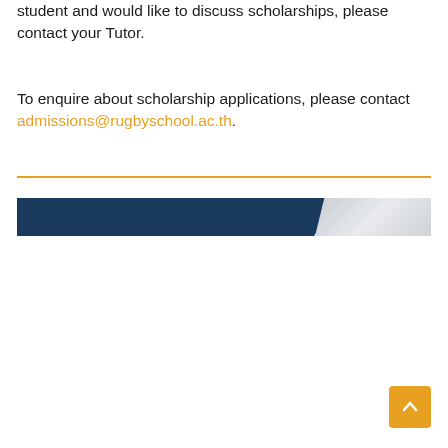student and would like to discuss scholarships, please contact your Tutor.
To enquire about scholarship applications, please contact admissions@rugbyschool.ac.th.
[Figure (other): Horizontal decorative banner with dark navy blue section on the left tapering to a light grey/silver section on the right, suggesting a header image of a building or school]
[Figure (other): Orange scroll-to-top button with upward chevron arrow in bottom right corner]